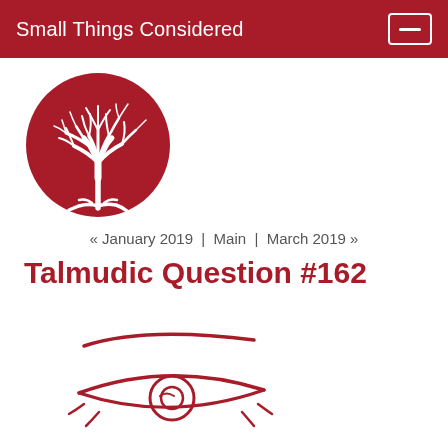Small Things Considered
[Figure (logo): Red circular logo with a white tree illustration branching outward against a dark red background]
« January 2019 | Main | March 2019 »
Talmudic Question #162
[Figure (illustration): Red line drawing of an eye with stylized eyelashes/brow above it, on white background]